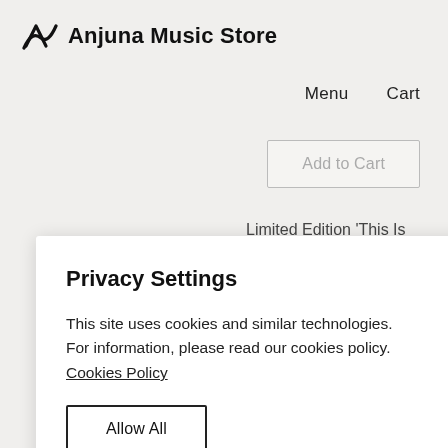Anjuna Music Store
Menu   Cart
Add to Cart
Limited Edition 'This Is Not Our Universal Album...
Privacy Settings
This site uses cookies and similar technologies. For information, please read our cookies policy.
Cookies Policy
Allow All
Manage Consent Preferences